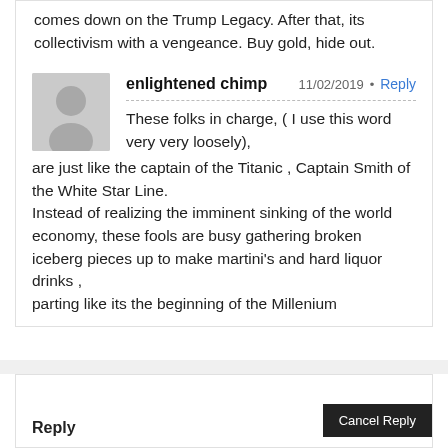comes down on the Trump Legacy. After that, its collectivism with a vengeance. Buy gold, hide out.
enlightened chimp
11/02/2019 • Reply
These folks in charge, ( I use this word very very loosely),
are just like the captain of the Titanic , Captain Smith of the White Star Line.
Instead of realizing the imminent sinking of the world economy, these fools are busy gathering broken iceberg pieces up to make martini's and hard liquor drinks ,
parting like its the beginning of the Millenium
Reply